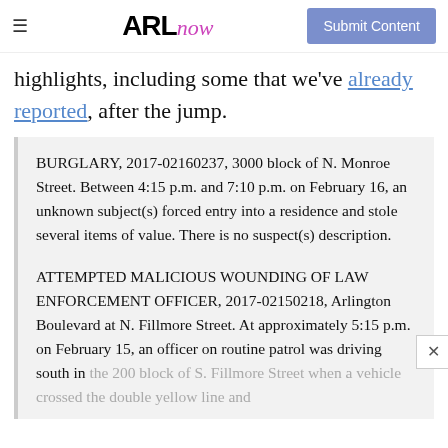ARLnow | Submit Content
highlights, including some that we've already reported, after the jump.
BURGLARY, 2017-02160237, 3000 block of N. Monroe Street. Between 4:15 p.m. and 7:10 p.m. on February 16, an unknown subject(s) forced entry into a residence and stole several items of value. There is no suspect(s) description.
ATTEMPTED MALICIOUS WOUNDING OF LAW ENFORCEMENT OFFICER, 2017-02150218, Arlington Boulevard at N. Fillmore Street. At approximately 5:15 p.m. on February 15, an officer on routine patrol was driving south in the 200 block of S. Fillmore Street when a vehicle crossed the double yellow line and